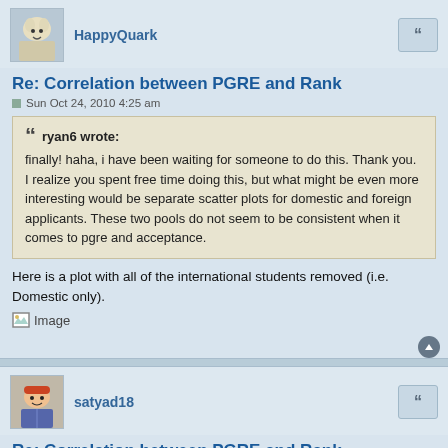HappyQuark
Re: Correlation between PGRE and Rank
Sun Oct 24, 2010 4:25 am
ryan6 wrote:
finally! haha, i have been waiting for someone to do this. Thank you. I realize you spent free time doing this, but what might be even more interesting would be separate scatter plots for domestic and foreign applicants. These two pools do not seem to be consistent when it comes to pgre and acceptance.
Here is a plot with all of the international students removed (i.e. Domestic only).
[Figure (other): Broken image placeholder labeled 'Image']
satyad18
Re: Correlation between PGRE and Rank